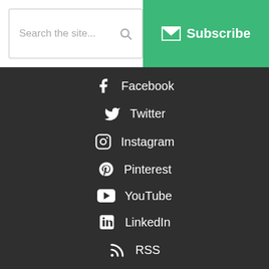Search the site...  Subscribe
Facebook
Twitter
Instagram
Pinterest
YouTube
LinkedIn
RSS